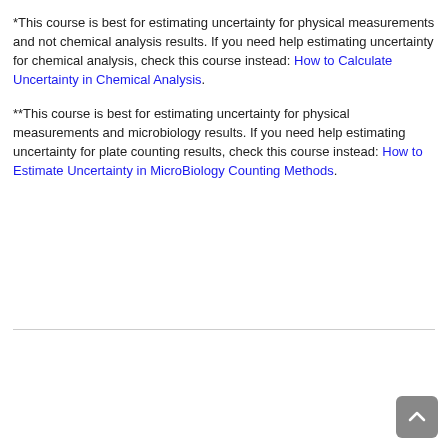*This course is best for estimating uncertainty for physical measurements and not chemical analysis results. If you need help estimating uncertainty for chemical analysis, check this course instead: How to Calculate Uncertainty in Chemical Analysis.
**This course is best for estimating uncertainty for physical measurements and microbiology results. If you need help estimating uncertainty for plate counting results, check this course instead: How to Estimate Uncertainty in MicroBiology Counting Methods.